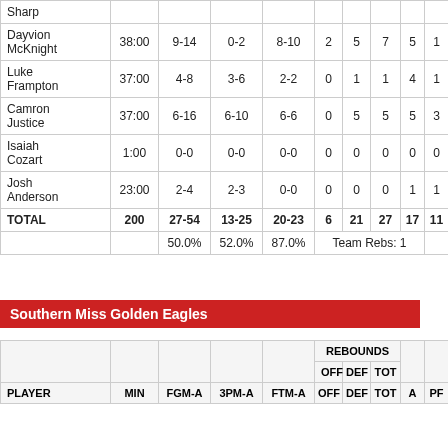| PLAYER | MIN | FGM-A | 3PM-A | FTM-A | OFF | DEF | TOT | A | PF |
| --- | --- | --- | --- | --- | --- | --- | --- | --- | --- |
| Sharp |  |  |  |  |  |  |  |  |  |
| Dayvion McKnight | 38:00 | 9-14 | 0-2 | 8-10 | 2 | 5 | 7 | 5 | 1 |
| Luke Frampton | 37:00 | 4-8 | 3-6 | 2-2 | 0 | 1 | 1 | 4 | 1 |
| Camron Justice | 37:00 | 6-16 | 6-10 | 6-6 | 0 | 5 | 5 | 5 | 3 |
| Isaiah Cozart | 1:00 | 0-0 | 0-0 | 0-0 | 0 | 0 | 0 | 0 | 0 |
| Josh Anderson | 23:00 | 2-4 | 2-3 | 0-0 | 0 | 0 | 0 | 1 | 1 |
| TOTAL | 200 | 27-54 | 13-25 | 20-23 | 6 | 21 | 27 | 17 | 11 |
|  |  | 50.0% | 52.0% | 87.0% | Team Rebs: 1 |  |  |  |  |
Southern Miss Golden Eagles
| PLAYER | MIN | FGM-A | 3PM-A | FTM-A | OFF | DEF | TOT | A | PF |
| --- | --- | --- | --- | --- | --- | --- | --- | --- | --- |